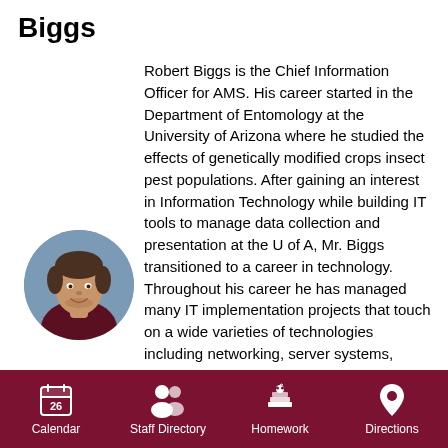Biggs
[Figure (photo): Circular headshot photo of Robert Biggs, a man wearing a dark maroon polo shirt, smiling]
Robert Biggs is the Chief Information Officer for AMS. His career started in the Department of Entomology at the University of Arizona where he studied the effects of genetically modified crops insect pest populations. After gaining an interest in Information Technology while building IT tools to manage data collection and presentation at the U of A, Mr. Biggs transitioned to a career in technology. Throughout his career he has managed many IT implementation projects that touch on a wide varieties of technologies including networking, server systems, communications, line-of-business applications (EHR, CRM), and cloud solutions. He has built and managed teams of IT professionals, emphasizing skill-building and career progression. He has provided CIO services to
Calendar  Staff Directory  Homework  Directions